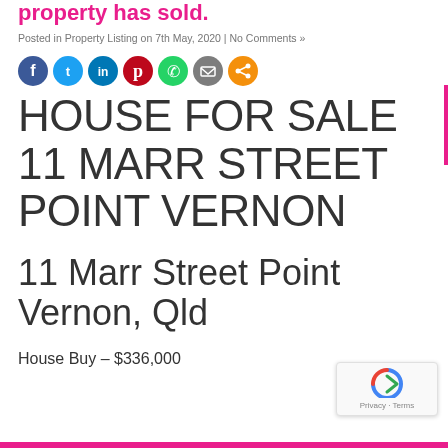property has sold.
Posted in Property Listing on 7th May, 2020 | No Comments »
[Figure (other): Social sharing icons: Facebook, Twitter, LinkedIn, Pinterest, WhatsApp, Email, Share]
HOUSE FOR SALE 11 MARR STREET POINT VERNON
11 Marr Street Point Vernon, Qld
House Buy – $336,000